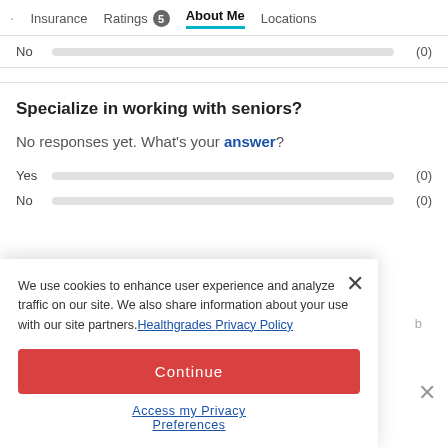· Insurance  Ratings 5  About Me  Locations
No (0)
Specialize in working with seniors?
No responses yet. What's your answer?
Yes (0)
No (0)
We use cookies to enhance user experience and analyze traffic on our site. We also share information about your use with our site partners. Healthgrades Privacy Policy
Continue
Access my Privacy Preferences